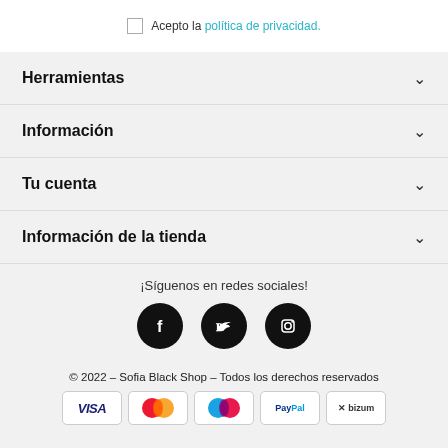Acepto la política de privacidad.
Herramientas
Información
Tu cuenta
Información de la tienda
¡Síguenos en redes sociales!
[Figure (illustration): Social media icons: Facebook, Twitter, Instagram (black circles)]
© 2022 – Sofia Black Shop – Todos los derechos reservados
[Figure (infographic): Payment method logos: VISA, Mastercard, Maestro, PayPal, Bizum]